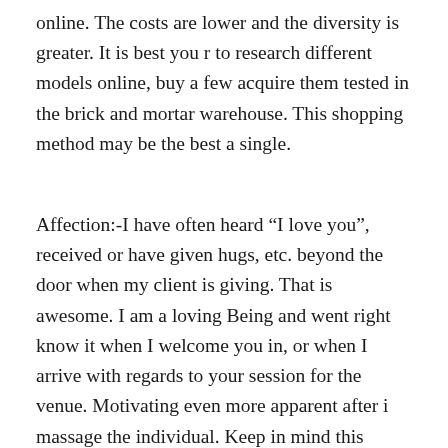online. The costs are lower and the diversity is greater. It is best you r to research different models online, buy a few acquire them tested in the brick and mortar warehouse. This shopping method may be the best a single.
Affection:-I have often heard “I love you”, received or have given hugs, etc. beyond the door when my client is giving. That is awesome. I am a loving Being and went right know it when I welcome you in, or when I arrive with regards to your session for the venue. Motivating even more apparent after i massage the individual. Keep in mind this particular kind of affection is the Christian or Universal Agape love, NOT the “I want to sleep with you,” Eros, devotion. I understand this in order to